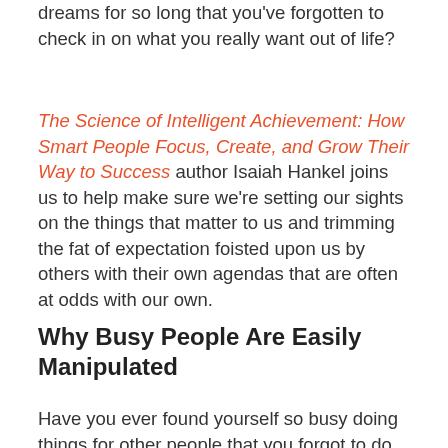dreams for so long that you've forgotten to check in on what you really want out of life?
The Science of Intelligent Achievement: How Smart People Focus, Create, and Grow Their Way to Success author Isaiah Hankel joins us to help make sure we're setting our sights on the things that matter to us and trimming the fat of expectation foisted upon us by others with their own agendas that are often at odds with our own.
Why Busy People Are Easily Manipulated
Have you ever found yourself so busy doing things for other people that you forgot to do